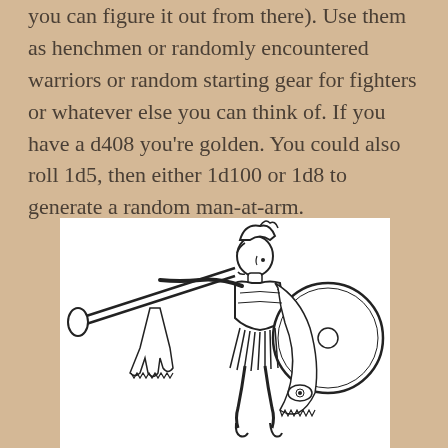you can figure it out from there). Use them as henchmen or randomly encountered warriors or random starting gear for fighters or whatever else you can think of. If you have a d408 you're golden. You could also roll 1d5, then either 1d100 or 1d8 to generate a random man-at-arm.
[Figure (illustration): Line drawing of an ancient Greek or Roman warrior in a crested helmet, blowing a long trumpet/salpinx, holding a large round shield, wearing a flowing cloak with decorative elements.]